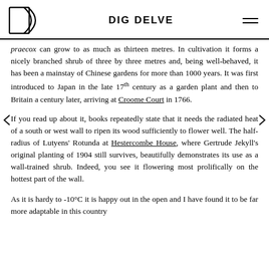DIG DELVE
praecox can grow to as much as thirteen metres. In cultivation it forms a nicely branched shrub of three by three metres and, being well-behaved, it has been a mainstay of Chinese gardens for more than 1000 years. It was first introduced to Japan in the late 17th century as a garden plant and then to Britain a century later, arriving at Croome Court in 1766.
If you read up about it, books repeatedly state that it needs the radiated heat of a south or west wall to ripen its wood sufficiently to flower well. The half-radius of Lutyens' Rotunda at Hestercombe House, where Gertrude Jekyll's original planting of 1904 still survives, beautifully demonstrates its use as a wall-trained shrub. Indeed, you see it flowering most prolifically on the hottest part of the wall.
As it is hardy to -10°C it is happy out in the open and I have found it to be far more adaptable in this country